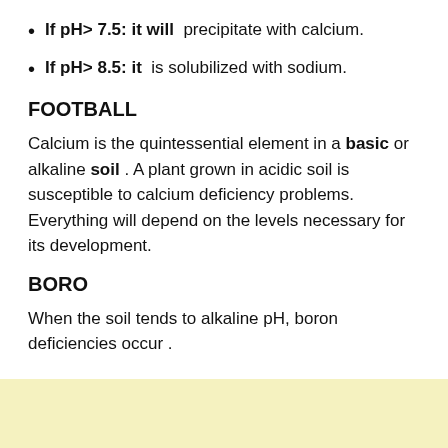If pH> 7.5: it will precipitate with calcium.
If pH> 8.5: it is solubilized with sodium.
FOOTBALL
Calcium is the quintessential element in a basic or alkaline soil . A plant grown in acidic soil is susceptible to calcium deficiency problems. Everything will depend on the levels necessary for its development.
BORO
When the soil tends to alkaline pH, boron deficiencies occur .